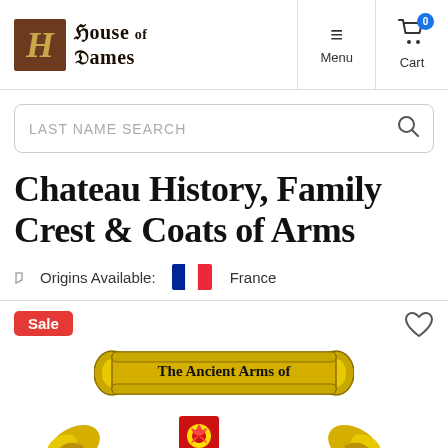House of Names — Menu, Cart navigation header
LAST NAME SEARCH
Chateau History, Family Crest & Coats of Arms
Origins Available: France
[Figure (illustration): The Ancient Arms of scroll banner with decorative heraldic elements below]
Sale